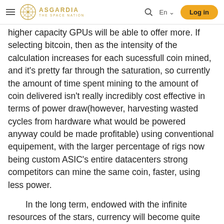Asgardia – The Space Nation | Navigation bar with logo, search, language selector, and Log in button
higher capacity GPUs will be able to offer more. If selecting bitcoin, then as the intensity of the calculation increases for each successfull coin mined, and it's pretty far through the saturation, so currently the amount of time spent mining to the amount of coin delivered isn't really incredibly cost effective in terms of power draw(however, harvesting wasted cycles from hardware what would be powered anyway could be made profitable) using conventional equipement, with the larger percentage of rigs now being custom ASIC's entire datacenters strong competitors can mine the same coin, faster, using less power.
In the long term, endowed with the infinite resources of the stars, currency will become quite meaningless.
Updated on Dec 26, 16 / Cap 25, 00 02:07 UTC, Total number of edits: 1 time
Reason: typo